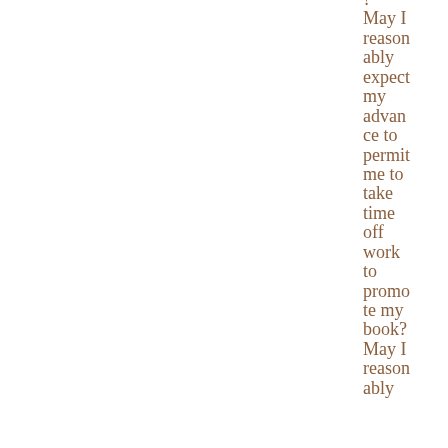? May I reasonably expect my advance to permit me to take time off work to promote my book? May I reasonably ably